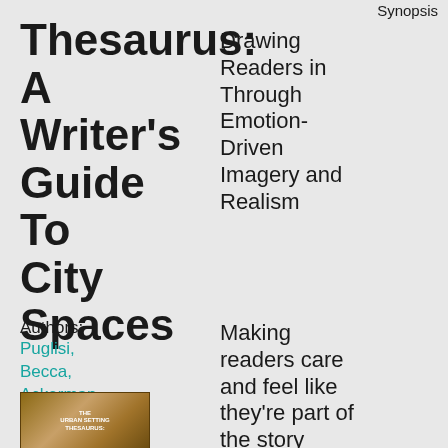Synopsis
Thesaurus: A Writer's Guide To City Spaces
Drawing Readers in Through Emotion-Driven Imagery and Realism
Authors: Puglisi, Becca, Ackerman, Angela
Making readers care and feel like they're part of the story should be the number one goal of all
[Figure (photo): Book cover of The Urban Setting Thesaurus]